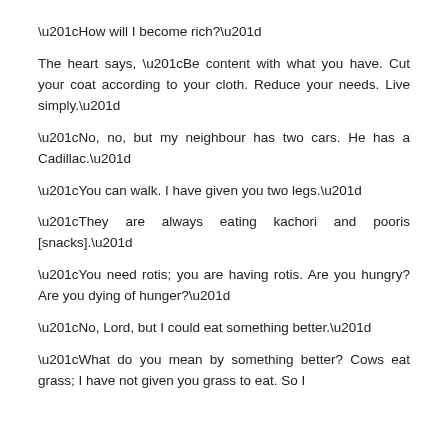“How will I become rich?”
The heart says, “Be content with what you have. Cut your coat according to your cloth. Reduce your needs. Live simply.”
“No, no, but my neighbour has two cars. He has a Cadillac.”
“You can walk. I have given you two legs.”
“They are always eating kachori and pooris [snacks].”
“You need rotis; you are having rotis. Are you hungry? Are you dying of hunger?”
“No, Lord, but I could eat something better.”
“What do you mean by something better? Cows eat grass; I have not given you grass to eat. So I